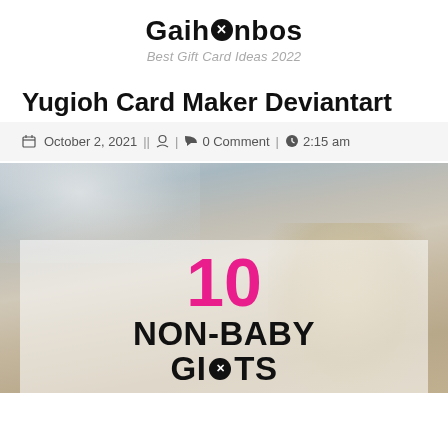Gaihonbos — Best Gift Card Ideas 2022
Yugioh Card Maker Deviantart
October 2, 2021 || [user icon] | [comment icon] 0 Comment | [clock icon] 2:15 am
[Figure (photo): A blonde woman lying in bed with pillows, with text overlay showing '10 NON-BABY GIFTS TO' in pink and black large bold letters on a semi-transparent white background]